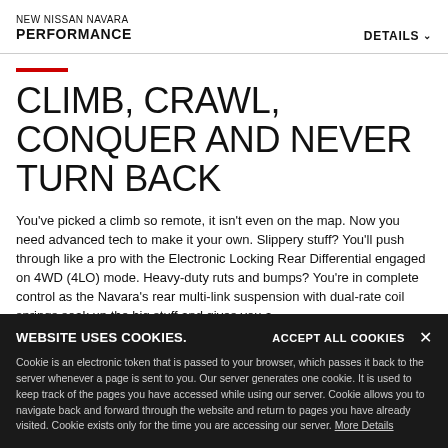NEW NISSAN NAVARA PERFORMANCE | DETAILS
CLIMB, CRAWL, CONQUER AND NEVER TURN BACK
You've picked a climb so remote, it isn't even on the map. Now you need advanced tech to make it your own. Slippery stuff? You'll push through like a pro with the Electronic Locking Rear Differential engaged on 4WD (4LO) mode. Heavy-duty ruts and bumps? You're in complete control as the Navara's rear multi-link suspension with dual-rate coil springs soak up the big stuff and gives you a
WEBSITE USES COOKIES. Cookie is an electronic token that is passed to your browser, which passes it back to the server whenever a page is sent to you. Our server generates one cookie. It is used to keep track of the pages you have accessed while using our server. Cookie allows you to navigate back and forward through the website and return to pages you have already visited. Cookie exists only for the time you are accessing our server. More Details